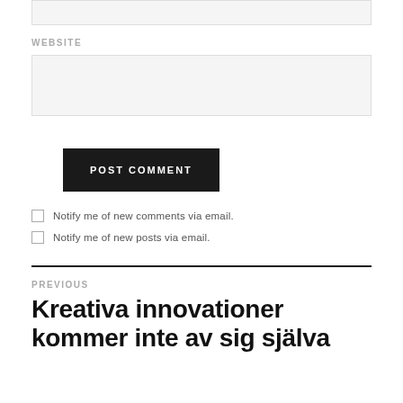[input box top]
WEBSITE
[website input box]
POST COMMENT
Notify me of new comments via email.
Notify me of new posts via email.
PREVIOUS
Kreativa innovationer kommer inte av sig själva